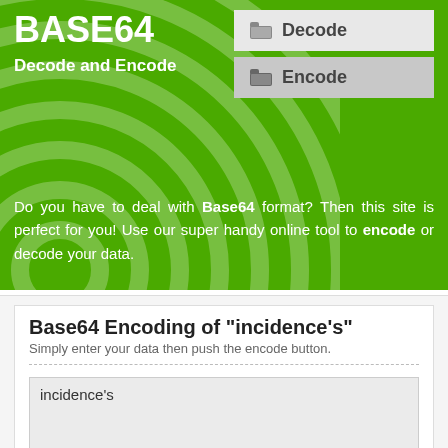BASE64
Decode and Encode
[Figure (screenshot): Decode navigation button with folder icon]
[Figure (screenshot): Encode navigation button with folder icon]
Do you have to deal with Base64 format? Then this site is perfect for you! Use our super handy online tool to encode or decode your data.
Base64 Encoding of "incidence's"
Simply enter your data then push the encode button.
incidence's